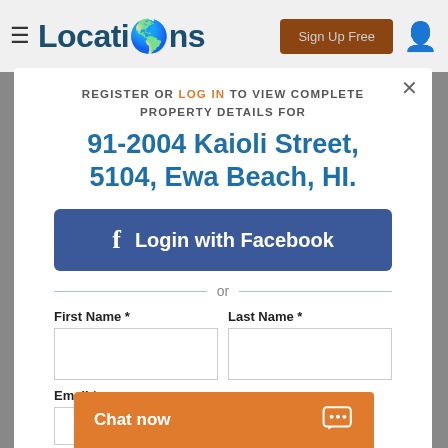Locations — Sign Up Free
REGISTER OR LOG IN TO VIEW COMPLETE PROPERTY DETAILS FOR
91-2004 Kaioli Street, 5104, Ewa Beach, HI.
f Login with Facebook
or
First Name *
Last Name *
Email *
Chat now